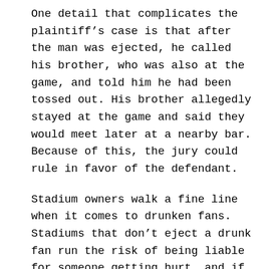One detail that complicates the plaintiff's case is that after the man was ejected, he called his brother, who was also at the game, and told him he had been tossed out. His brother allegedly stayed at the game and said they would meet later at a nearby bar. Because of this, the jury could rule in favor of the defendant.
Stadium owners walk a fine line when it comes to drunken fans. Stadiums that don't eject a drunk fan run the risk of being liable for someone getting hurt, and if they do, they could be held responsible if something happens to the fan. A lawyer specializing in premises liability may be able to represent individuals who find themselves injured due to unsafe conditions. Victims and their families could be able to obtain compensation for injuries...